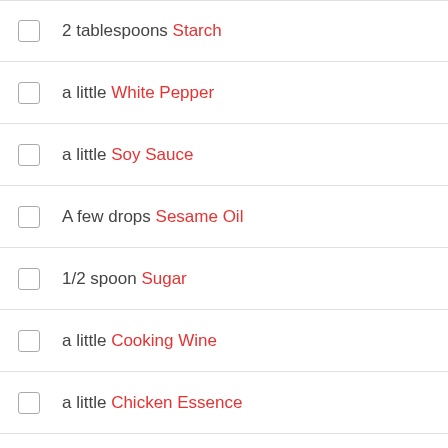2 tablespoons Starch
a little White Pepper
a little Soy Sauce
A few drops Sesame Oil
1/2 spoon Sugar
a little Cooking Wine
a little Chicken Essence